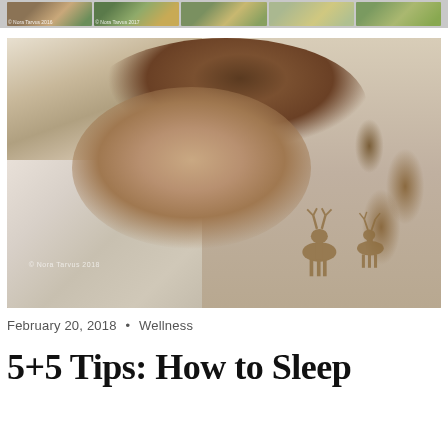[Figure (photo): Top strip showing a row of small thumbnail photos of outdoor/nature scenes]
[Figure (photo): Main large photograph of a young woman sleeping peacefully in bed covered with a white blanket featuring deer and animal prints. A watermark reads © Nora Tarvus 2018.]
February 20, 2018 • Wellness
5+5 Tips: How to Sleep